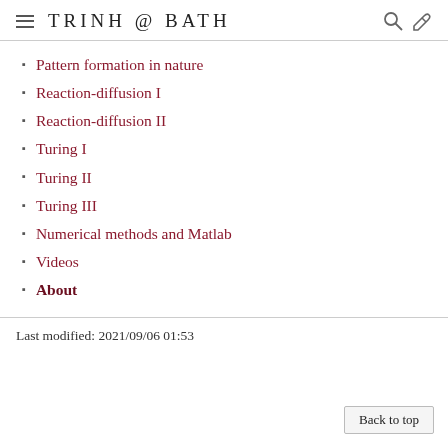TRINH @ BATH
Pattern formation in nature
Reaction-diffusion I
Reaction-diffusion II
Turing I
Turing II
Turing III
Numerical methods and Matlab
Videos
About
Last modified: 2021/09/06 01:53